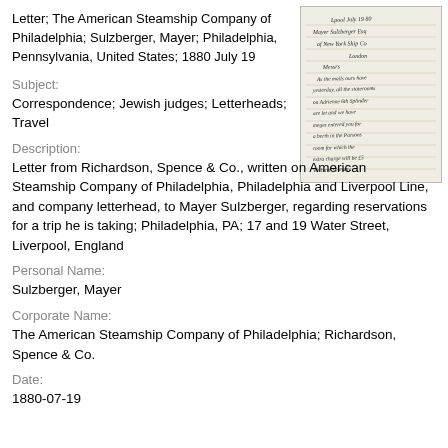Letter; The American Steamship Company of Philadelphia; Sulzberger, Mayer; Philadelphia, Pennsylvania, United States; 1880 July 19
[Figure (photo): Handwritten letter in cursive, appearing to be a historical document with cursive script, dated July 19, 1880, addressed to Mayer Sulzberger.]
Subject:
Correspondence; Jewish judges; Letterheads; Travel
Description:
Letter from Richardson, Spence & Co., written on American Steamship Company of Philadelphia, Philadelphia and Liverpool Line, and company letterhead, to Mayer Sulzberger, regarding reservations for a trip he is taking; Philadelphia, PA; 17 and 19 Water Street, Liverpool, England
Personal Name:
Sulzberger, Mayer
Corporate Name:
The American Steamship Company of Philadelphia; Richardson, Spence & Co.
Date:
1880-07-19